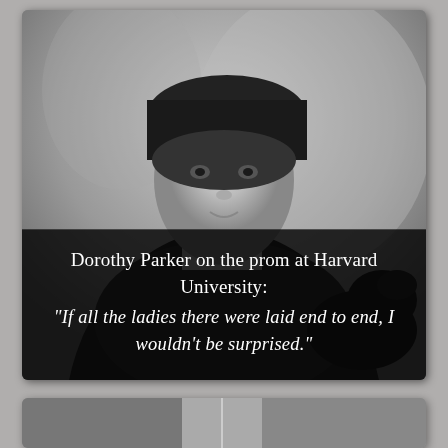[Figure (photo): Black and white vintage photograph of Dorothy Parker, a woman wearing a dark hat and dark fur-collared coat, with a dark dog visible at lower right. Overlaid text on the lower portion reads the attribution and quote.]
Dorothy Parker on the prom at Harvard University: “If all the ladies there were laid end to end, I wouldn’t be surprised.”
[Figure (photo): Partially visible black and white photograph at the bottom of the page, cropped.]